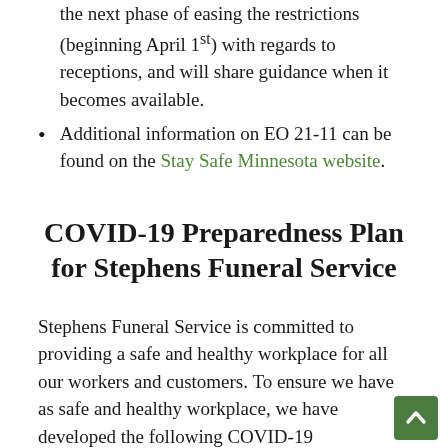the next phase of easing the restrictions (beginning April 1st) with regards to receptions, and will share guidance when it becomes available.
Additional information on EO 21-11 can be found on the Stay Safe Minnesota website.
COVID-19 Preparedness Plan for Stephens Funeral Service
Stephens Funeral Service is committed to providing a safe and healthy workplace for all our workers and customers. To ensure we have as safe and healthy workplace, we have developed the following COVID-19 Preparedness Plan in response to the COVID-19 pandemic. Managers and workers are all